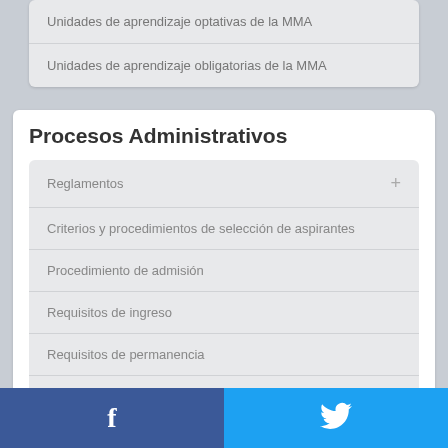Unidades de aprendizaje optativas de la MMA
Unidades de aprendizaje obligatorias de la MMA
Procesos Administrativos
Reglamentos
Criterios y procedimientos de selección de aspirantes
Procedimiento de admisión
Requisitos de ingreso
Requisitos de permanencia
Convocatoria de Admisión Agosto 2022
Guía de Admisión Febrero 2022
[Figure (logo): Facebook and Twitter social media footer icons on dark blue and light blue backgrounds]